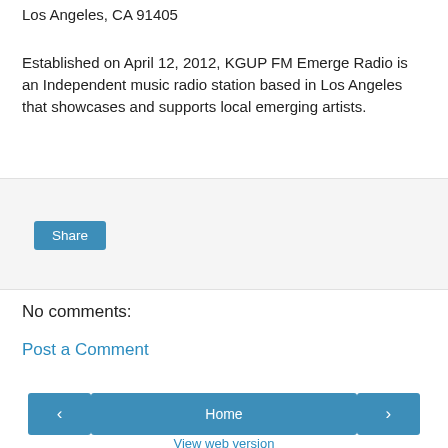Los Angeles, CA 91405
Established on April 12, 2012, KGUP FM Emerge Radio is an Independent music radio station based in Los Angeles that showcases and supports local emerging artists.
[Figure (screenshot): A light gray box containing a Share button styled in blue]
No comments:
Post a Comment
Home
View web version